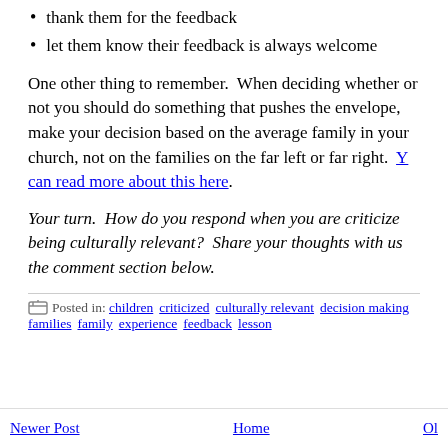thank them for the feedback
let them know their feedback is always welcome
One other thing to remember. When deciding whether or not you should do something that pushes the envelope, make your decision based on the average family in your church, not on the families on the far left or far right. You can read more about this here.
Your turn. How do you respond when you are criticized for being culturally relevant? Share your thoughts with us in the comment section below.
Posted in: children criticized culturally relevant decision making families family experience feedback lesson
Newer Post  Home  Ol...